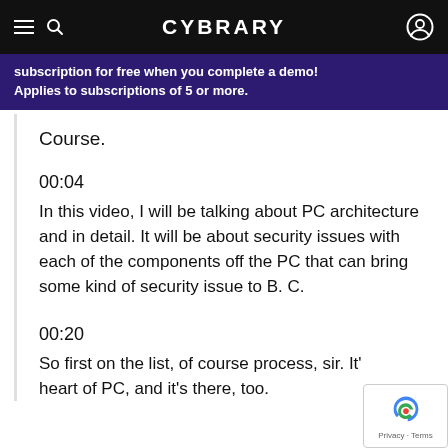CYBRARY
subscription for free when you complete a demo! Applies to subscriptions of 5 or more.
Course.
00:04
In this video, I will be talking about PC architecture and in detail. It will be about security issues with each of the components off the PC that can bring some kind of security issue to B. C.
00:20
So first on the list, of course process, sir. It's heart of PC, and it's there, too.